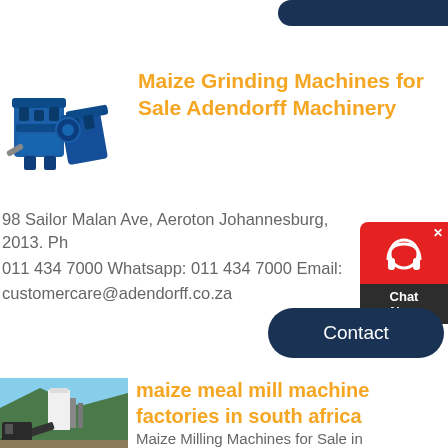[Figure (other): Partially visible dark navy rounded button at top right]
[Figure (photo): Blue industrial maize grinding machine on white background]
Maize Grinding Machines for Sale Adendorff Machinery
98 Sailor Malan Ave, Aeroton Johannesburg, 2013. Ph 011 434 7000 Whatsapp: 011 434 7000 Email: customercare@adendorff.co.za
[Figure (other): Red and dark chat widget with headphone icon and Chat Now text]
[Figure (other): Dark navy Contact button]
[Figure (photo): Industrial maize milling machinery at a factory site in south africa]
maize meal mill machine factories in south africa
Maize Milling Machines for Sale in